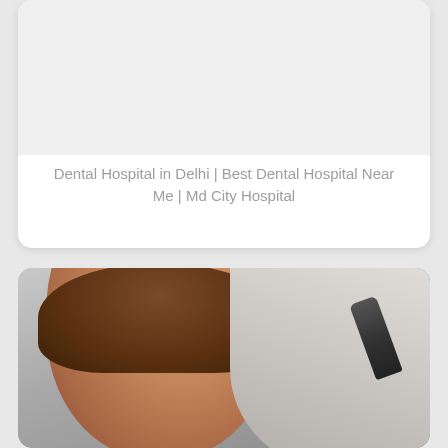[Figure (photo): Top card with blank/white image area representing a dental hospital image placeholder]
Dental Hospital in Delhi | Best Dental Hospital Near Me | Md City Hospital
[Figure (photo): Photo of a smiling child with brown curly hair being examined by a doctor in white coat holding a medical instrument to the child's head]